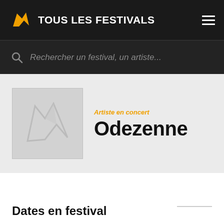TOUS LES FESTIVALS
Rechercher un festival, un artiste...
[Figure (logo): Placeholder artist thumbnail with site logo watermark on grey background]
Artiste en concert
Odezenne
Dates en festival